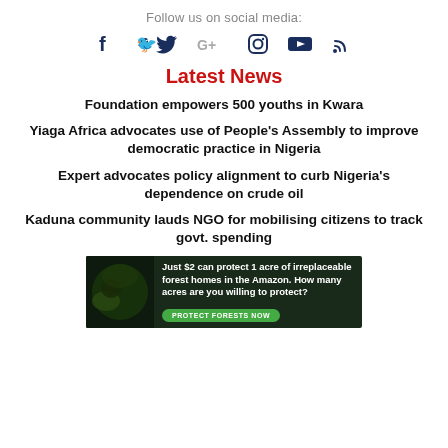Follow us on social media:
[Figure (infographic): Social media icons: Facebook, Twitter, Google+, Instagram, YouTube, RSS]
Latest News
Foundation empowers 500 youths in Kwara
Yiaga Africa advocates use of People's Assembly to improve democratic practice in Nigeria
Expert advocates policy alignment to curb Nigeria's dependence on crude oil
Kaduna community lauds NGO for mobilising citizens to track govt. spending
[Figure (other): Advertisement banner: Just $2 can protect 1 acre of irreplaceable forest homes in the Amazon. How many acres are you willing to protect? PROTECT FORESTS NOW]